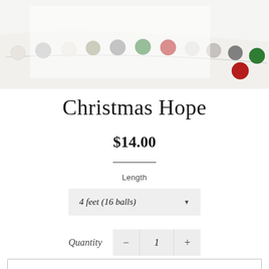[Figure (photo): Photo of a Christmas garland/bracelet with colored felt balls in white, gray, green, red, and beige colors arranged on a string against a light background.]
Christmas Hope
$14.00
Length
4 feet (16 balls)
Quantity 1